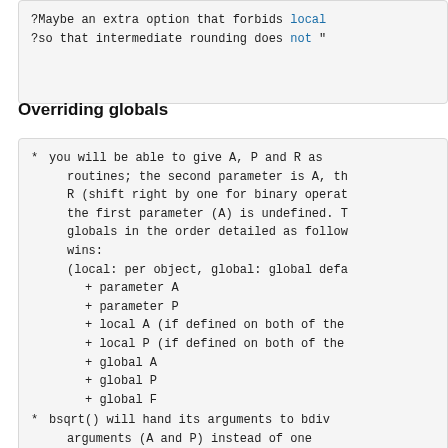[Figure (screenshot): Code/comment block with monospace text: '?Maybe an extra option that forbids local' and '?so that intermediate rounding does not ']
Overriding globals
[Figure (screenshot): Code/text block with bullet list items describing parameter overriding behavior: 'you will be able to give A, P and R as routines; the second parameter is A, the R (shift right by one for binary operat the first parameter (A) is undefined. T globals in the order detailed as follow wins: (local: per object, global: global defa + parameter A + parameter P + local A (if defined on both of the + local P (if defined on both of the + global A + global P + global F * bsqrt() will hand its arguments to bdiv arguments (A and P) instead of one']